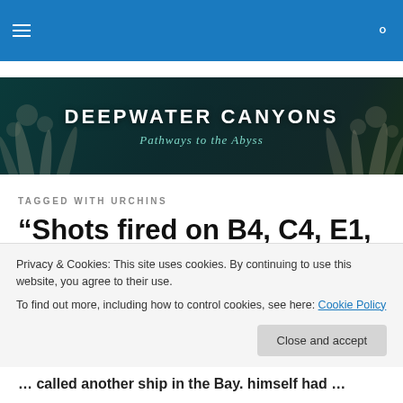Deepwater Canyons — navigation bar with hamburger menu and search icon
[Figure (illustration): Deepwater Canyons banner with deep ocean coral background. Title: DEEPWATER CANYONS, subtitle: Pathways to the Abyss]
TAGGED WITH URCHINS
“Shots fired on B4, C4, E1, and D5…”Confirmed: B4 hit and
Privacy & Cookies: This site uses cookies. By continuing to use this website, you agree to their use.
To find out more, including how to control cookies, see here: Cookie Policy
Close and accept
… called another ship in the Bay. himself had …